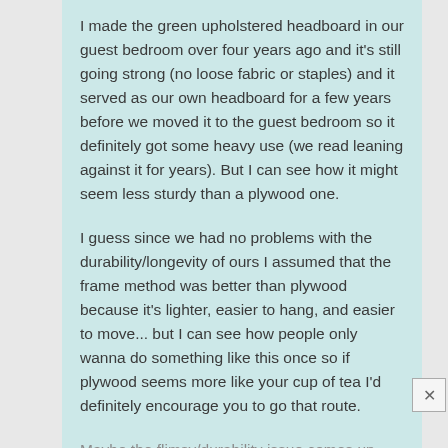I made the green upholstered headboard in our guest bedroom over four years ago and it's still going strong (no loose fabric or staples) and it served as our own headboard for a few years before we moved it to the guest bedroom so it definitely got some heavy use (we read leaning against it for years). But I can see how it might seem less sturdy than a plywood one.
I guess since we had no problems with the durability/longevity of ours I assumed that the frame method was better than plywood because it's lighter, easier to hang, and easier to move... but I can see how people only wanna do something like this once so if plywood seems more like your cup of tea I'd definitely encourage you to go that route.
Maybe the flimsy/durability issue comes up with a frame if you use cheap or thin fabric and batting (or fabric with a lot of stretch). That would